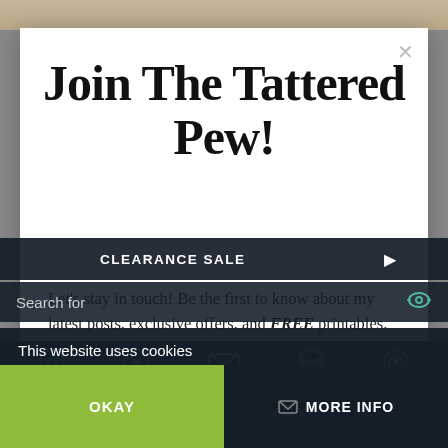[Figure (screenshot): Background photo of a stone or brick wall, partially visible at top]
Join The Tattered Pew!
Let's stay in touch! Be the first to know about my latest posts, exclusive offers, and FREE printables.
Email address
First name
Search for
CLEARANCE SALE
This website uses cookies
OKAY
MORE INFO